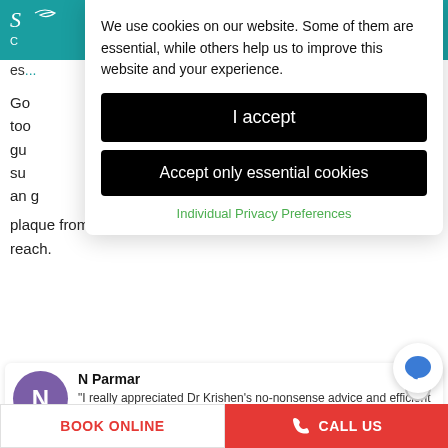[Figure (screenshot): Dental clinic website header with teal background, logo and hamburger menu]
es... plaque from between your teeth where your toothbrush cannot reach.
Go... too... gu... su... an...
We use cookies on our website. Some of them are essential, while others help us to improve this website and your experience.
I accept
Accept only essential cookies
Individual Privacy Preferences
N Parmar
"I really appreciated Dr Krishen's no-nonsense advice and efficient service. I went in to have a crown done, which f... great and fits perfectly (so far!). Dr Krishen also gave a thorough check-up and highlighted areas that I'd nee... k..." READ MORE
5 days ago
BOOK ONLINE
CALL US